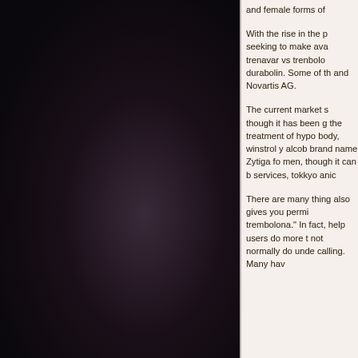[Figure (photo): Dark image occupying the left two-thirds of the page, appears to be a dark background with subtle gradient lighting]
and female forms of
With the rise in the p seeking to make ava trenavar vs trenbolo durabolin. Some of th and Novartis AG.
The current market s though it has been g the treatment of hypo body, winstrol y alcob brand name Zytiga fo men, though it can b services, tokkyo anic
There are many thing also gives you permi trembolona." In fact, help users do more t not normally do unde calling. Many hav